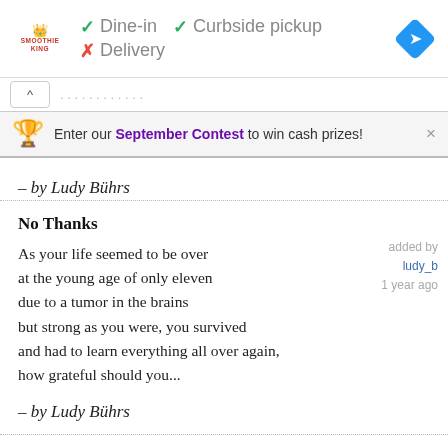[Figure (screenshot): Ad banner showing Smoothie King logo with Dine-in checkmark, Curbside pickup checkmark, Delivery X mark, and a blue navigation diamond icon]
Enter our September Contest to win cash prizes!
– by Ludy Bührs
No Thanks
As your life seemed to be over
at the young age of only eleven
due to a tumor in the brains
but strong as you were, you survived
and had to learn everything all over again,
how grateful should you...
added by ludy_b 1 year ago
– by Ludy Bührs